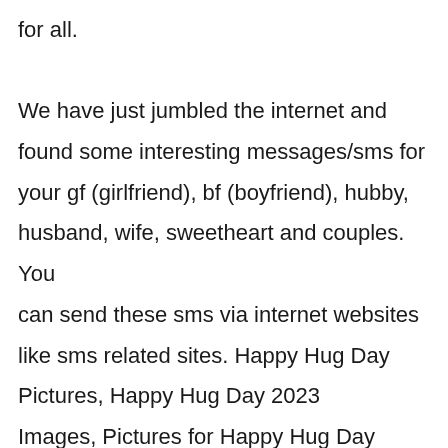for all.

We have just jumbled the internet and found some interesting messages/sms for your gf (girlfriend), bf (boyfriend), hubby, husband, wife, sweetheart and couples. You can send these sms via internet websites like sms related sites. Happy Hug Day Pictures, Happy Hug Day 2023 Images, Pictures for Happy Hug Day 2023, Images for Happy Hug Day 2023.